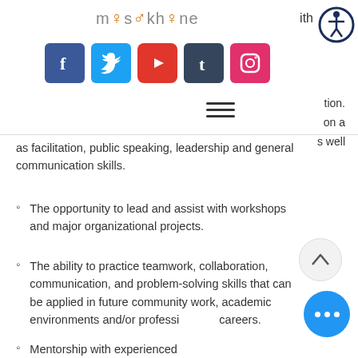masakhane [logo with social icons: Facebook, Twitter, YouTube, Tumblr, Instagram]
...ith ...ion. ...on a ...s well as facilitation, public speaking, leadership and general communication skills.
The opportunity to lead and assist with workshops and major organizational projects.
The ability to practice teamwork, collaboration, communication, and problem-solving skills that can be applied in future community work, academic environments and/or professional careers.
Mentorship with experienced Sexuality Educators...